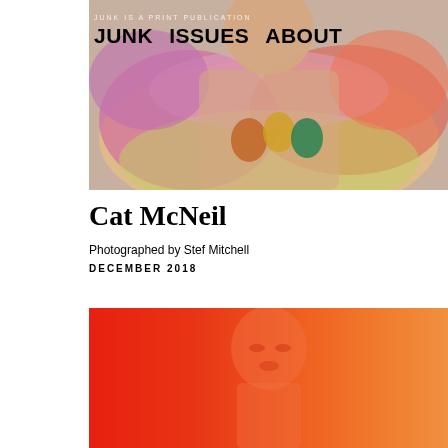[Figure (photo): Woman wearing tie-dye Grateful Dead dancing bears t-shirt, photographed from waist up against light background. Navigation bar overlaid with JUNK, ISSUES, ABOUT links and tagline 'JUNK IS A PRINT PUBLICATION']
JUNK IS A PRINT PUBLICATION
JUNK    ISSUES    ABOUT
Cat McNeil
Photographed by Stef Mitchell
DECEMBER 2018
[Figure (photo): Portrait of a person against a vivid red to orange gradient background, face visible with soft focus, high contrast colorized style]